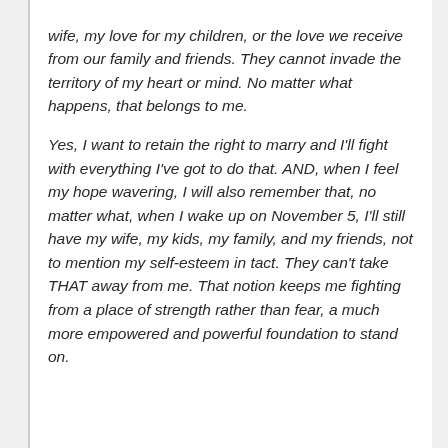wife, my love for my children, or the love we receive from our family and friends. They cannot invade the territory of my heart or mind. No matter what happens, that belongs to me.
Yes, I want to retain the right to marry and I'll fight with everything I've got to do that. AND, when I feel my hope wavering, I will also remember that, no matter what, when I wake up on November 5, I'll still have my wife, my kids, my family, and my friends, not to mention my self-esteem in tact. They can't take THAT away from me. That notion keeps me fighting from a place of strength rather than fear, a much more empowered and powerful foundation to stand on.